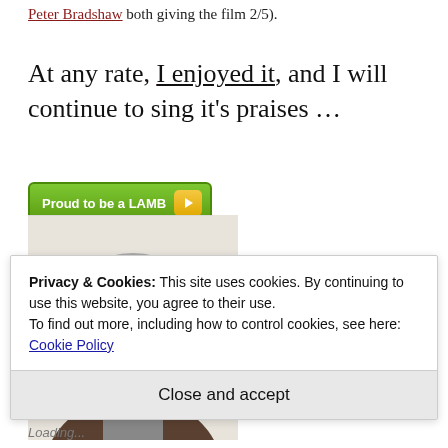Peter Bradshaw both giving the film 2/5).
At any rate, I enjoyed it, and I will continue to sing it's praises …
[Figure (other): Green 'Proud to be a LAMB' badge/button with yellow play button icon]
[Figure (photo): Headshot photo of an older man with grey hair and beard, wearing glasses]
Privacy & Cookies: This site uses cookies. By continuing to use this website, you agree to their use.
To find out more, including how to control cookies, see here: Cookie Policy
Close and accept
Loading...